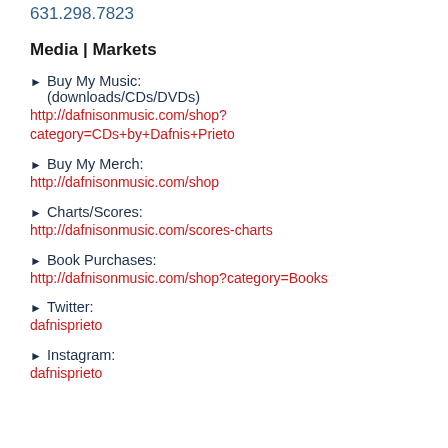631.298.7823
Media | Markets
▶ Buy My Music: (downloads/CDs/DVDs)
http://dafnisonmusic.com/shop?category=CDs+by+Dafnis+Prieto
▶ Buy My Merch:
http://dafnisonmusic.com/shop
▶ Charts/Scores:
http://dafnisonmusic.com/scores-charts
▶ Book Purchases:
http://dafnisonmusic.com/shop?category=Books
▶ Twitter:
dafnisprieto
▶ Instagram:
dafnisprieto